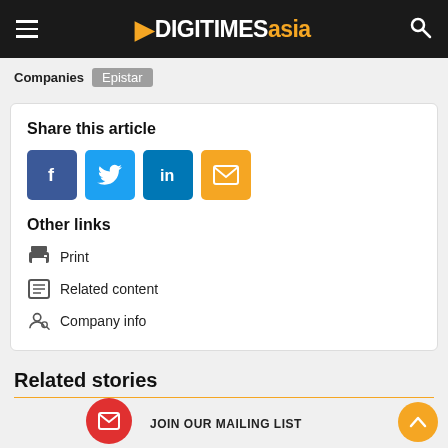DIGITIMES asia
Companies Epistar
Share this article
Facebook share button
Twitter share button
LinkedIn share button
Email share button
Other links
Print
Related content
Company info
Related stories
JOIN OUR MAILING LIST